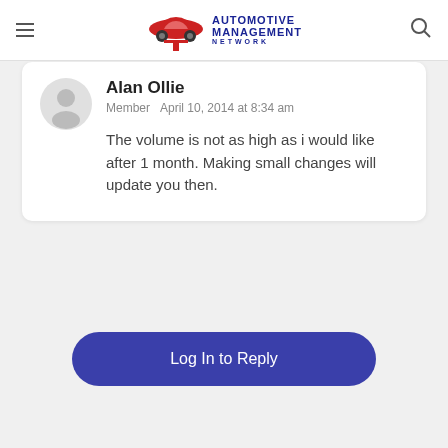Automotive Management Network
Alan Ollie
Member  April 10, 2014 at 8:34 am
The volume is not as high as i would like after 1 month. Making small changes will update you then.
Log In to Reply